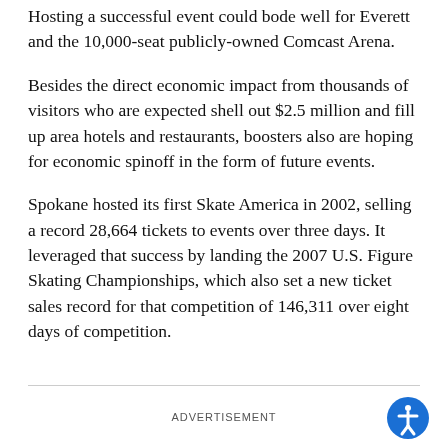Hosting a successful event could bode well for Everett and the 10,000-seat publicly-owned Comcast Arena.
Besides the direct economic impact from thousands of visitors who are expected shell out $2.5 million and fill up area hotels and restaurants, boosters also are hoping for economic spinoff in the form of future events.
Spokane hosted its first Skate America in 2002, selling a record 28,664 tickets to events over three days. It leveraged that success by landing the 2007 U.S. Figure Skating Championships, which also set a new ticket sales record for that competition of 146,311 over eight days of competition.
ADVERTISEMENT